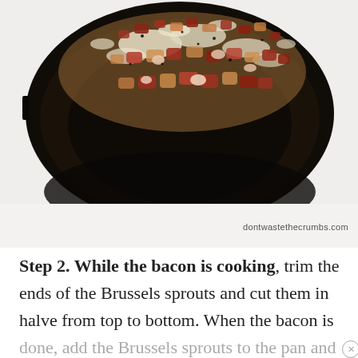[Figure (photo): A cast iron skillet seen from above with chopped cooked bacon pieces sizzling in grease, with foam and dark seasoning visible. Photo watermarked with 'dontwastethecrumbs.com'.]
Step 2. While the bacon is cooking, trim the ends of the Brussels sprouts and cut them in halve from top to bottom. When the bacon is done, add the Brussels sprouts to the pan and stir well to coat with bacon grease. Cook until